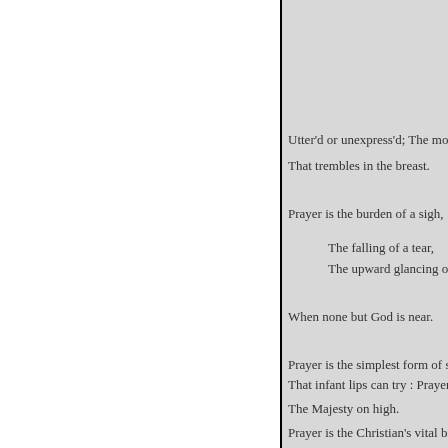Utter'd or unexpress'd; The moti
That trembles in the breast.

Prayer is the burden of a sigh,
    The falling of a tear,
    The upward glancing of an

When none but God is near.

Prayer is the simplest form of sp
That infant lips can try : Prayer,
The Majesty on high.
Prayer is the Christian's vital bre
    The Christian's native air ;
    His watchword at the gates
    He enters heaven by praye
Prayer is the contrite sinner